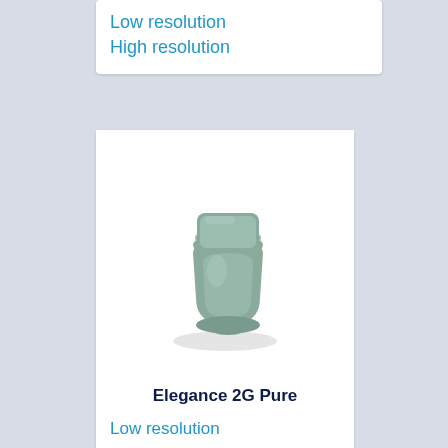Low resolution
High resolution
[Figure (photo): A sage/green-grey ceramic back-to-wall toilet (Elegance 2G Pure) shown from a slightly elevated front-left angle on a white background.]
Elegance 2G Pure
Low resolution
High resolution